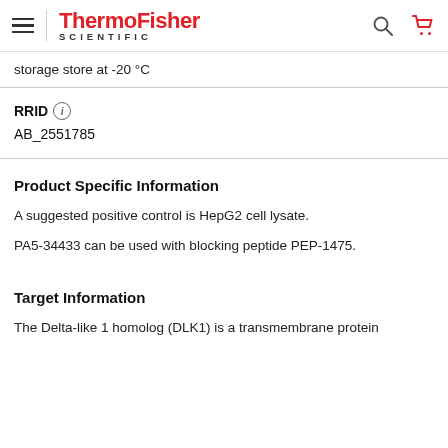ThermoFisher SCIENTIFIC
storage store at -20 C
RRID
AB_2551785
Product Specific Information
A suggested positive control is HepG2 cell lysate.
PA5-34433 can be used with blocking peptide PEP-1475.
Target Information
The Delta-like 1 homolog (DLK1) is a transmembrane protein